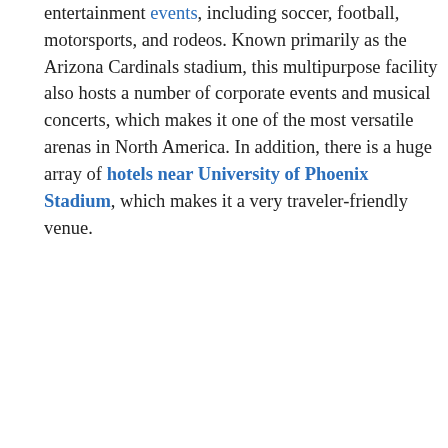entertainment events, including soccer, football, motorsports, and rodeos. Known primarily as the Arizona Cardinals stadium, this multipurpose facility also hosts a number of corporate events and musical concerts, which makes it one of the most versatile arenas in North America. In addition, there is a huge array of hotels near University of Phoenix Stadium, which makes it a very traveler-friendly venue.
The home field of the NFL's